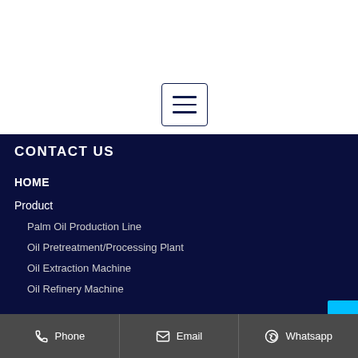[Figure (other): Hamburger menu button icon — square with three horizontal lines]
CONTACT US
HOME
Product
Palm Oil Production Line
Oil Pretreatment/Processing Plant
Oil Extraction Machine
Oil Refinery Machine
Phone   Email   Whatsapp